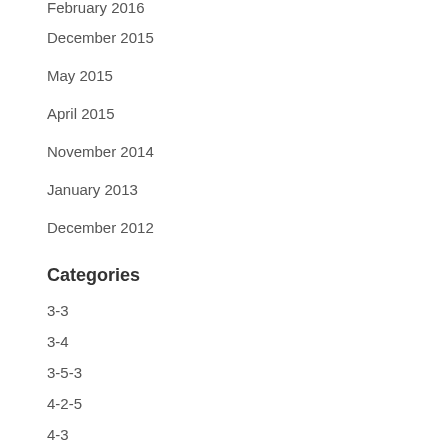February 2016
December 2015
May 2015
April 2015
November 2014
January 2013
December 2012
Categories
3-3
3-4
3-5-3
4-2-5
4-3
4-4
5-2